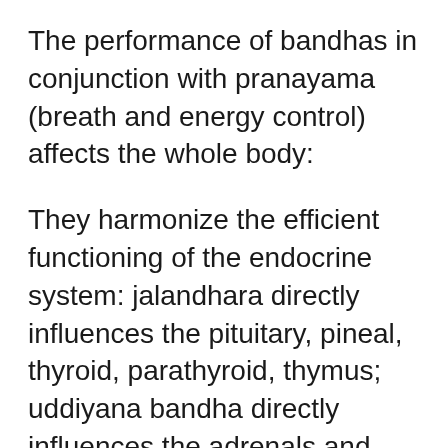The performance of bandhas in conjunction with pranayama (breath and energy control) affects the whole body:
They harmonize the efficient functioning of the endocrine system: jalandhara directly influences the pituitary, pineal, thyroid, parathyroid, thymus; uddiyana bandha directly influences the adrenals and pancreas; moola bandha directly influences the gonads and the perineal body/ cervix (which are said to be